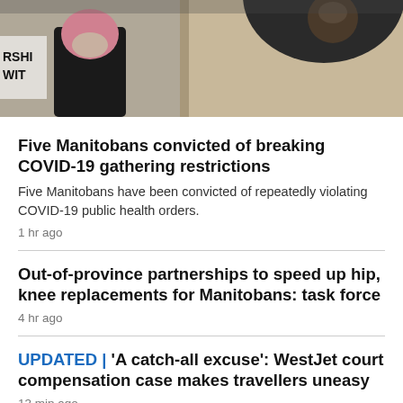[Figure (photo): Outdoor scene showing people from behind, one with a pink hat, another in black clothing; a partial protest sign visible on the left reading 'RSHIP' and 'WIT']
Five Manitobans convicted of breaking COVID-19 gathering restrictions
Five Manitobans have been convicted of repeatedly violating COVID-19 public health orders.
1 hr ago
Out-of-province partnerships to speed up hip, knee replacements for Manitobans: task force
4 hr ago
UPDATED | 'A catch-all excuse': WestJet court compensation case makes travellers uneasy
13 min ago